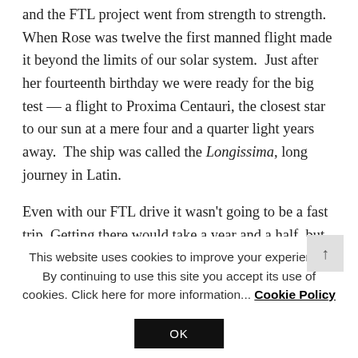wonderful young woman, though industrious one, and the FTL project went from strength to strength. When Rose was twelve the first manned flight made it beyond the limits of our solar system. Just after her fourteenth birthday we were ready for the big test — a flight to Proxima Centauri, the closest star to our sun at a mere four and a quarter light years away. The ship was called the Longissima, long journey in Latin.
Even with our FTL drive it wasn't going to be a fast trip. Getting there would take a year and a half, but that was still an incredible improvement on the thousands of
This website uses cookies to improve your experience. By continuing to use this site you accept its use of cookies. Click here for more information... Cookie Policy
OK